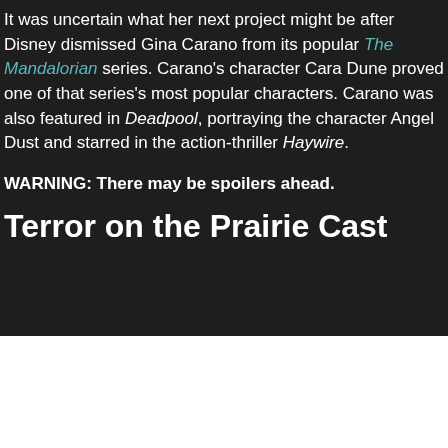It was uncertain what her next project might be after Disney dismissed Gina Carano from its popular The Mandalorian series. Carano's character Cara Dune proved one of that series's most popular characters. Carano was also featured in Deadpool, portraying the character Angel Dust and starred in the action-thriller Haywire.
WARNING: There may be spoilers ahead.
Terror on the Prairie Cast